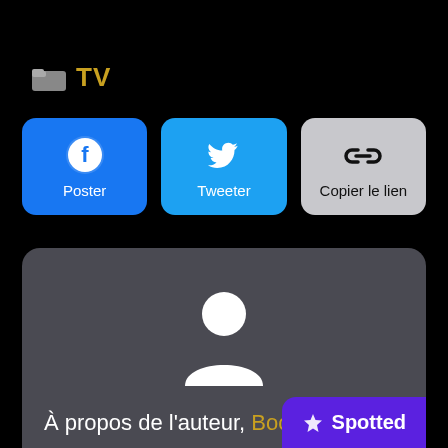[Figure (screenshot): Folder icon followed by 'TV' label in gold/amber color on black background]
[Figure (screenshot): Three sharing buttons: Facebook (blue, f icon, 'Poster'), Twitter (light blue, bird icon, 'Tweeter'), Copy link (gray, chain icon, 'Copier le lien')]
[Figure (screenshot): Gray card with white user avatar silhouette (head and shoulders), partially showing text 'À propos de l'auteur, Boo' with a purple 'Spotted' badge in bottom right]